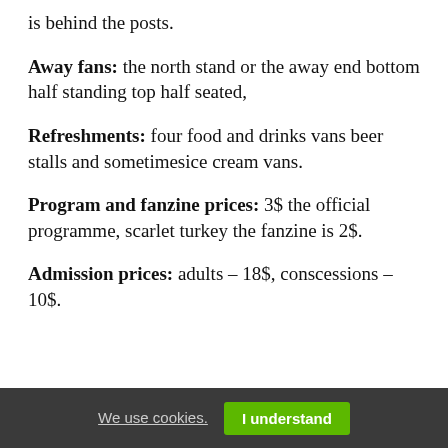is behind the posts.
Away fans: the north stand or the away end bottom half standing top half seated,
Refreshments: four food and drinks vans beer stalls and sometimesice cream vans.
Program and fanzine prices: 3$ the official programme, scarlet turkey the fanzine is 2$.
Admission prices: adults – 18$, conscessions – 10$.
We use cookies. I understand